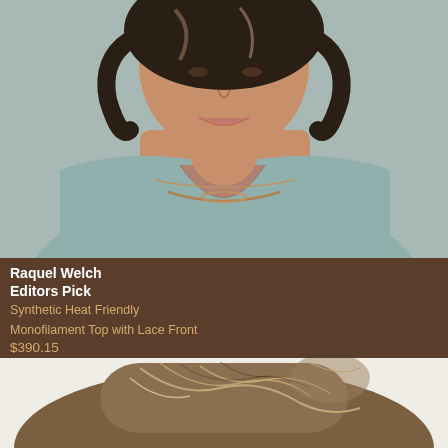[Figure (photo): Woman with short, wavy dark brown hair with highlights, smiling, wearing a light teal sleeveless top and layered rose gold necklaces, photographed from shoulders up against a light gray background.]
Raquel Welch
Editors Pick
Synthetic Heat Friendly
Monofilament Top with Lace Front
$390.15
[Figure (photo): Close-up top view of a wig with medium brown hair with lighter highlights, showing natural-looking part and texture.]